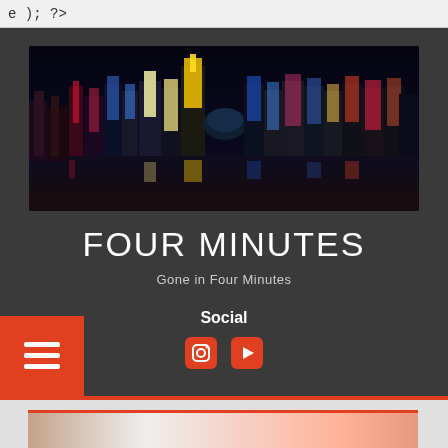e ); ?>
[Figure (photo): Night skyline of Hong Kong city with colorful illuminated skyscrapers reflecting on water]
FOUR MINUTES
Gone in Four Minutes
Social
[Figure (other): Social media icons: Instagram and YouTube in orange color]